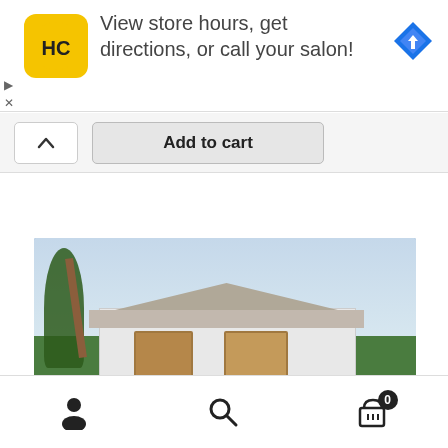[Figure (screenshot): Advertisement banner with HC (Hair Club) yellow logo, text 'View store hours, get directions, or call your salon!', and Google Maps blue diamond navigation icon on the right]
[Figure (screenshot): Add to cart button bar with up chevron button on the left and 'Add to cart' button in the center]
[Figure (photo): 3D rendered image of a small single-story house with hip roof, white walls, wooden doors, surrounded by palm trees and green shrubs. Text 'FREE DOWNLOAD' overlaid at bottom.]
[Figure (screenshot): Mobile app bottom navigation bar with profile/person icon, search/magnifying glass icon, and shopping cart icon with badge showing '0']